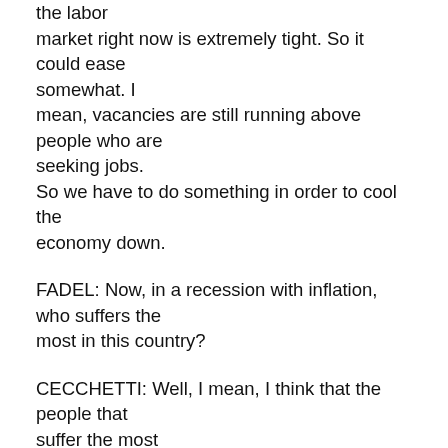the labor market right now is extremely tight. So it could ease somewhat. I mean, vacancies are still running above people who are seeking jobs. So we have to do something in order to cool the economy down.
FADEL: Now, in a recession with inflation, who suffers the most in this country?
CECCHETTI: Well, I mean, I think that the people that suffer the most are clearly the people that are at the lower end of the income distribution and people who are on fixed incomes. Inflation is hurting them already because their consumption baskets are more heavily